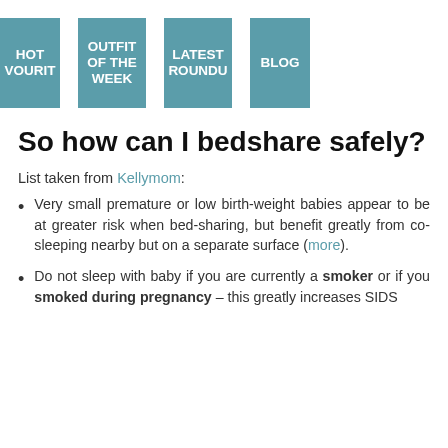[Figure (other): Navigation bar with four thumbnail images labeled: HOT VOURIT, OUTFIT OF THE WEEK, LATEST ROUNDU, BLOG]
So how can I bedshare safely?
List taken from Kellymom:
Very small premature or low birth-weight babies appear to be at greater risk when bed-sharing, but benefit greatly from co-sleeping nearby but on a separate surface (more).
Do not sleep with baby if you are currently a smoker or if you smoked during pregnancy – this greatly increases SIDS